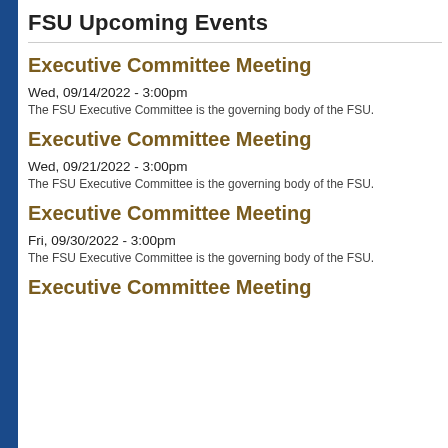FSU Upcoming Events
Executive Committee Meeting
Wed, 09/14/2022 - 3:00pm
The FSU Executive Committee is the governing body of the FSU.
Executive Committee Meeting
Wed, 09/21/2022 - 3:00pm
The FSU Executive Committee is the governing body of the FSU.
Executive Committee Meeting
Fri, 09/30/2022 - 3:00pm
The FSU Executive Committee is the governing body of the FSU.
Executive Committee Meeting